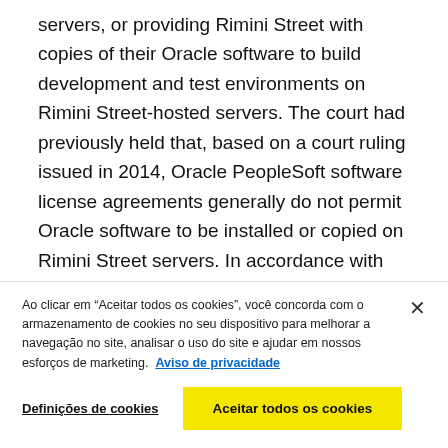servers, or providing Rimini Street with copies of their Oracle software to build development and test environments on Rimini Street-hosted servers. The court had previously held that, based on a court ruling issued in 2014, Oracle PeopleSoft software license agreements generally do not permit Oracle software to be installed or copied on Rimini Street servers. In accordance with the ruling, Rimini Street ceased the use of Oracle software on its servers and transitioned to a remote access connection service model for all clients by July 2014.
Ao clicar em “Aceitar todos os cookies”, você concorda com o armazenamento de cookies no seu dispositivo para melhorar a navegação no site, analisar o uso do site e ajudar em nossos esforços de marketing. Aviso de privacidade
Definições de cookies
Aceitar todos os cookies